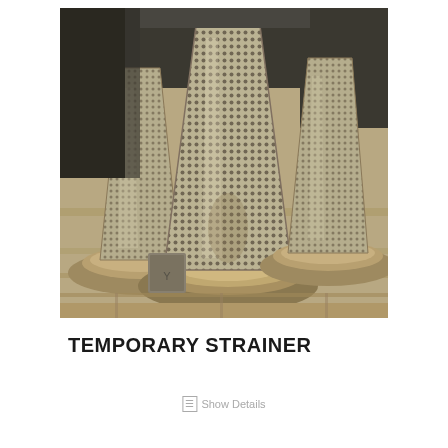[Figure (photo): Three conical temporary strainers made of perforated stainless steel mesh, each mounted on circular flanged bases, placed on a wooden pallet surface. The strainers are cone-shaped filters used in piping systems.]
TEMPORARY STRAINER
Show Details